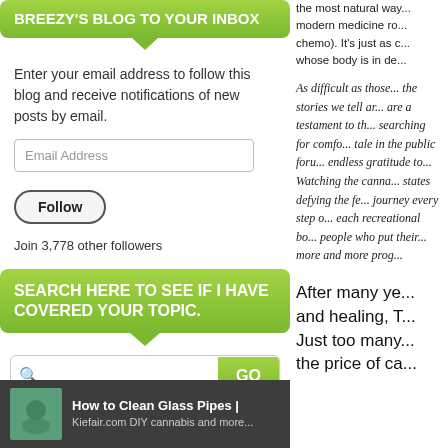BREEZY'S BLOG TO YOUR INBOX
Enter your email address to follow this blog and receive notifications of new posts by email.
Email Address
Follow
Join 3,778 other followers
SEARCH HERE TO SEE IF I HAVE COVERED YOUR TOPIC.
GO
[Figure (screenshot): Icons row: folder, blue tag, back arrow, orange speech bubble]
How to Clean Glass Pipes | Kiefair.com DIY cannabis and more...
the most natural way... modern medicine ro... chemo). It's just as c... whose body is in de...
As difficult as those... the stories we tell ar... are a testament to th... searching for comfo... tale in the public foru... endless gratitude to... Watching the canna... states defying the fe... journey every step o... each recreational bo... people who put their... more and more prog...
After many ye... and healing, T... Just too many... the price of ca...